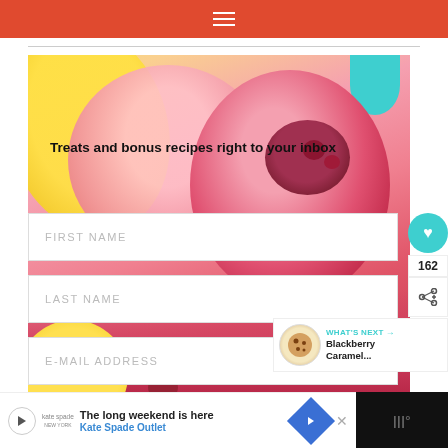≡ (navigation bar)
[Figure (photo): Close-up photo of colorful ice cream scoops with raspberries on top — yellow lemon sorbet, pink, and dark red raspberry scoops with a teal accent]
Treats and bonus recipes right to your inbox
FIRST NAME
LAST NAME
E-MAIL ADDRESS
[Figure (infographic): Social sharing sidebar: teal heart icon, count 162, share icon]
162
[Figure (infographic): What's Next widget showing Blackberry Caramel... with cookie thumbnail]
WHAT'S NEXT → Blackberry Caramel...
[Figure (infographic): Advertisement banner: The long weekend is here — Kate Spade Outlet]
The long weekend is here
Kate Spade Outlet